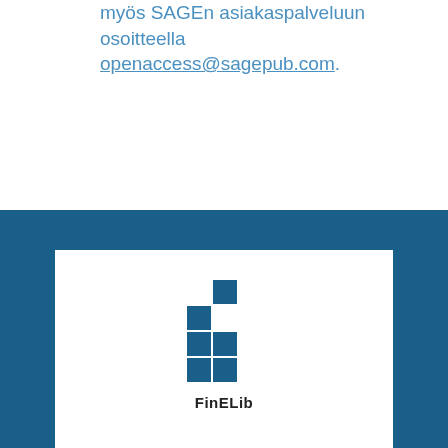myös SAGEn asiakaspalveluun osoitteella openaccess@sagepub.com.
[Figure (logo): FinELib logo: a pattern of blue squares arranged in a cross/plus pattern, with the text 'FinELib' below]